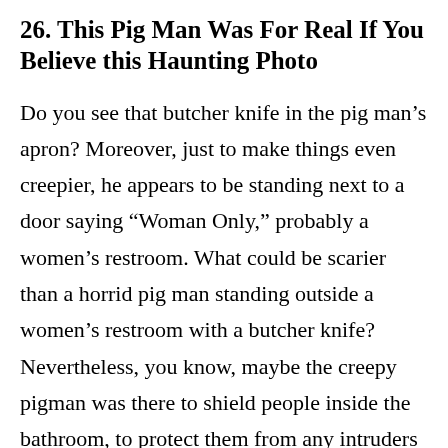26. This Pig Man Was For Real If You Believe this Haunting Photo
Do you see that butcher knife in the pig man's apron? Moreover, just to make things even creepier, he appears to be standing next to a door saying “Woman Only,” probably a women’s restroom. What could be scarier than a horrid pig man standing outside a women’s restroom with a butcher knife? Nevertheless, you know, maybe the creepy pigman was there to shield people inside the bathroom, to protect them from any intruders